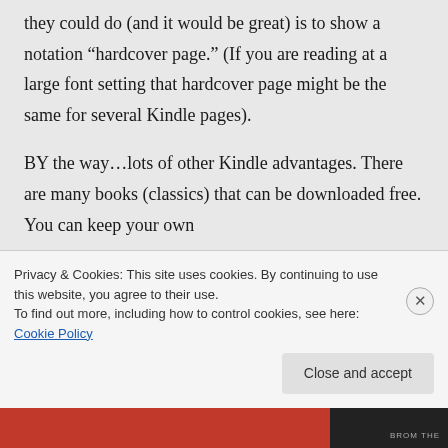they could do (and it would be great) is to show a notation “hardcover page.” (If you are reading at a large font setting that hardcover page might be the same for several Kindle pages).

BY the way…lots of other Kindle advantages. There are many books (classics) that can be downloaded free. You can keep your own
Privacy & Cookies: This site uses cookies. By continuing to use this website, you agree to their use.
To find out more, including how to control cookies, see here: Cookie Policy
Close and accept